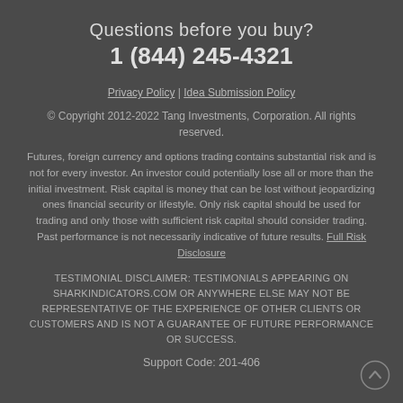Questions before you buy?
1 (844) 245-4321
Privacy Policy | Idea Submission Policy
© Copyright 2012-2022 Tang Investments, Corporation. All rights reserved.
Futures, foreign currency and options trading contains substantial risk and is not for every investor. An investor could potentially lose all or more than the initial investment. Risk capital is money that can be lost without jeopardizing ones financial security or lifestyle. Only risk capital should be used for trading and only those with sufficient risk capital should consider trading. Past performance is not necessarily indicative of future results. Full Risk Disclosure
TESTIMONIAL DISCLAIMER: TESTIMONIALS APPEARING ON SHARKINDICATORS.COM OR ANYWHERE ELSE MAY NOT BE REPRESENTATIVE OF THE EXPERIENCE OF OTHER CLIENTS OR CUSTOMERS AND IS NOT A GUARANTEE OF FUTURE PERFORMANCE OR SUCCESS.
Support Code: 201-406